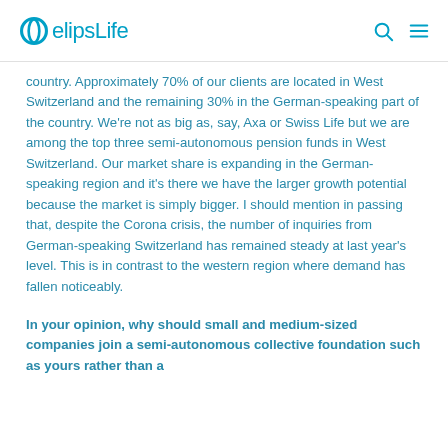elipsLife
country. Approximately 70% of our clients are located in West Switzerland and the remaining 30% in the German-speaking part of the country. We're not as big as, say, Axa or Swiss Life but we are among the top three semi-autonomous pension funds in West Switzerland. Our market share is expanding in the German-speaking region and it's there we have the larger growth potential because the market is simply bigger. I should mention in passing that, despite the Corona crisis, the number of inquiries from German-speaking Switzerland has remained steady at last year's level. This is in contrast to the western region where demand has fallen noticeably.
In your opinion, why should small and medium-sized companies join a semi-autonomous collective foundation such as yours rather than a